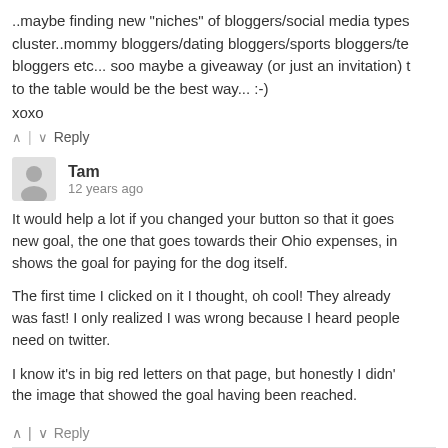..maybe finding new "niches" of bloggers/social media types cluster..mommy bloggers/dating bloggers/sports bloggers/te bloggers etc... soo maybe a giveaway (or just an invitation) t to the table would be the best way... :-)
xoxo
^ | v Reply
Tam
12 years ago
It would help a lot if you changed your button so that it goes new goal, the one that goes towards their Ohio expenses, in shows the goal for paying for the dog itself.

The first time I clicked on it I thought, oh cool! They already was fast! I only realized I was wrong because I heard people need on twitter.

I know it's in big red letters on that page, but honestly I didn' the image that showed the goal having been reached.
^ | v Reply